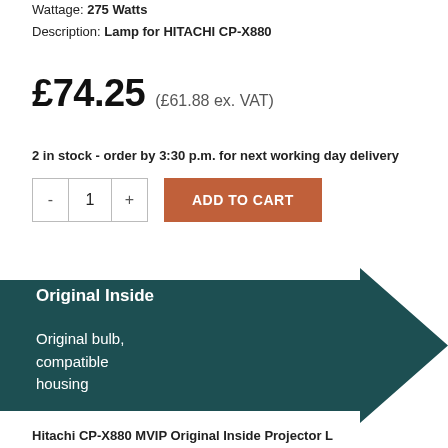Wattage: 275 Watts
Description: Lamp for HITACHI CP-X880
£74.25 (£61.88 ex. VAT)
2 in stock - order by 3:30 p.m. for next working day delivery
[Figure (infographic): Dark teal right-pointing arrow graphic with text 'Original Inside' and 'Original bulb, compatible housing']
Hitachi CP-X880 MVIP Original Inside Projector Lamp